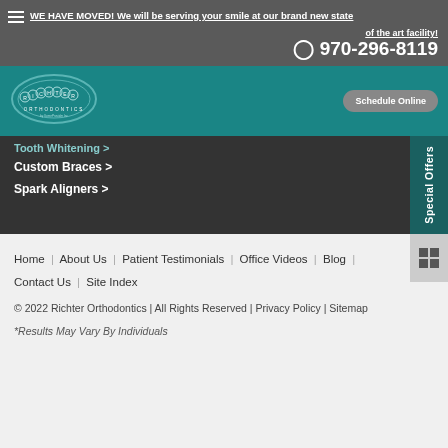WE HAVE MOVED! We will be serving your smile at our brand new state of the art facility! 970-296-8119
[Figure (logo): Richter Orthodontics oval logo with circles spelling R-I-C-H-T-E-R]
Tooth Whitening >
Custom Braces >
Spark Aligners >
Special Offers
Home | About Us | Patient Testimonials | Office Videos | Blog | Contact Us | Site Index
© 2022 Richter Orthodontics | All Rights Reserved | Privacy Policy | Sitemap
*Results May Vary By Individuals